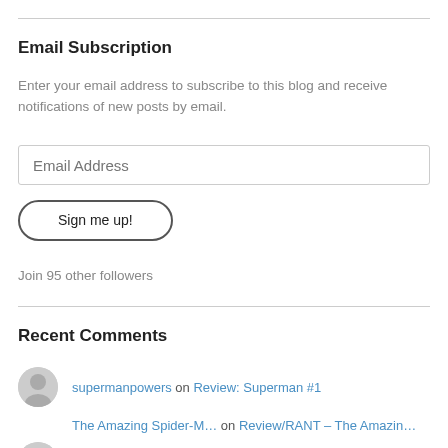Email Subscription
Enter your email address to subscribe to this blog and receive notifications of new posts by email.
Email Address
Sign me up!
Join 95 other followers
Recent Comments
supermanpowers on Review: Superman #1
The Amazing Spider-M… on Review/RANT – The Amazin…
ronneh on Review – Suicide Squad,….